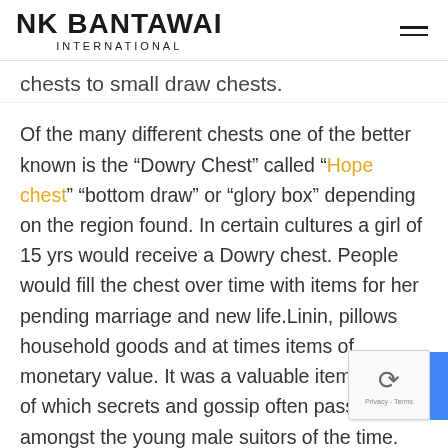NK BANTAWAI INTERNATIONAL
chests to small draw chests.
Of the many different chests one of the better known is the “Dowry Chest” called “Hope chest” “bottom draw” or “glory box” depending on the region found. In certain cultures a girl of 15 yrs would receive a Dowry chest. People would fill the chest over time with items for her pending marriage and new life.Linin, pillows household goods and at times items of monetary value. It was a valuable item and one of which secrets and gossip often passed amongst the young male suitors of the time. While this tradition has passed in most of the world the “Dowry” in one form or another still re… to this day in certain areas.